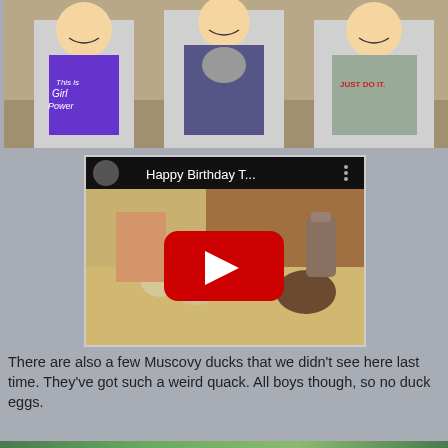[Figure (photo): Three children smiling; the middle child holds a small goat/rabbit. Left child wears a purple 'This is Girl Power' shirt, right child wears a gray 'JUST DO IT' Nike shirt.]
[Figure (screenshot): YouTube video thumbnail titled 'Happy Birthday T...' showing a farm scene with goats and ducks, with a red YouTube play button overlay.]
There are also a few Muscovy ducks that we didn't see here last time. They've got such a weird quack. All boys though, so no duck eggs.